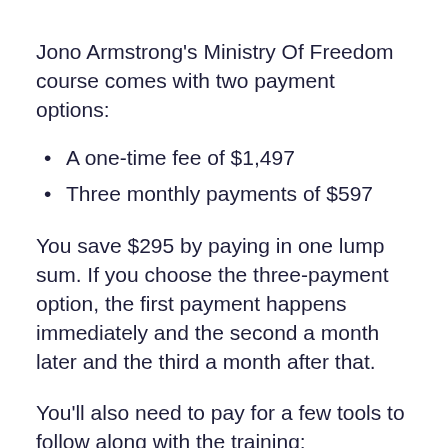Jono Armstrong's Ministry Of Freedom course comes with two payment options:
A one-time fee of $1,497
Three monthly payments of $597
You save $295 by paying in one lump sum. If you choose the three-payment option, the first payment happens immediately and the second a month later and the third a month after that.
You'll also need to pay for a few tools to follow along with the training: